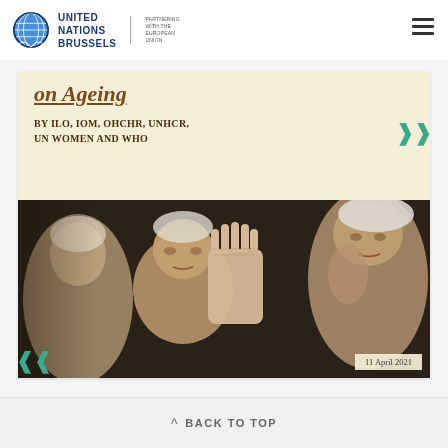UNITED NATIONS BRUSSELS | PARTNERING WITH THE EUROPEAN UNION
on Ageing
BY ILO, IOM, OHCHR, UNHCR, UN WOMEN AND WHO
[Figure (photo): Elderly people with hands raised, photographed close up. Date overlay: 11 April 2021]
BACK TO TOP